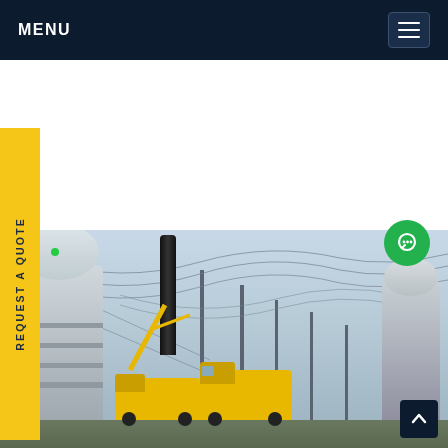MENU
REQUEST A QUOTE
[Figure (photo): Electrical power substation with large transformer equipment, insulators, power lines, and yellow utility trucks and crane vehicles working at the site.]